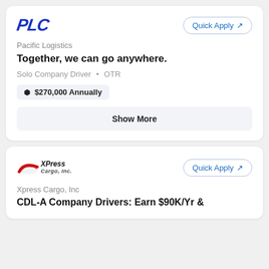[Figure (logo): PLC (Pacific Logistics Corp) logo in bold blue italic text]
Quick Apply ↗
Pacific Logistics
Together, we can go anywhere.
Solo Company Driver • OTR
⬡ $270,000 Annually
Show More
[Figure (logo): XPress Cargo, Inc. logo with red swoosh graphic and italic text]
Quick Apply ↗
Xpress Cargo, Inc
CDL-A Company Drivers: Earn $90K/Yr &